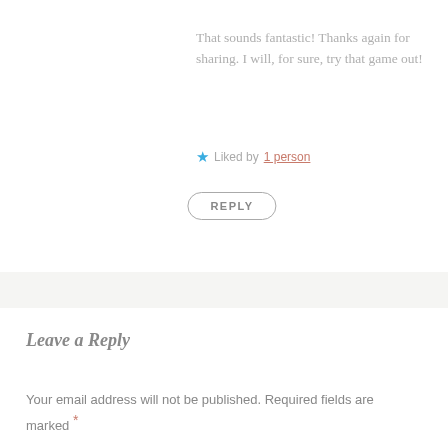That sounds fantastic! Thanks again for sharing. I will, for sure, try that game out!
★ Liked by 1 person
REPLY
Leave a Reply
Your email address will not be published. Required fields are marked *